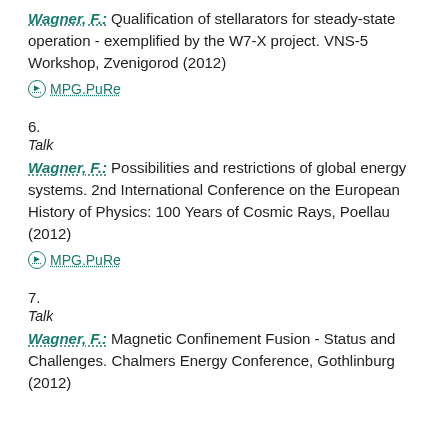Wagner, F.: Qualification of stellarators for steady-state operation - exemplified by the W7-X project. VNS-5 Workshop, Zvenigorod (2012)
MPG.PuRe
6.
Talk
Wagner, F.: Possibilities and restrictions of global energy systems. 2nd International Conference on the European History of Physics: 100 Years of Cosmic Rays, Poellau (2012)
MPG.PuRe
7.
Talk
Wagner, F.: Magnetic Confinement Fusion - Status and Challenges. Chalmers Energy Conference, Gothlinburg (2012)